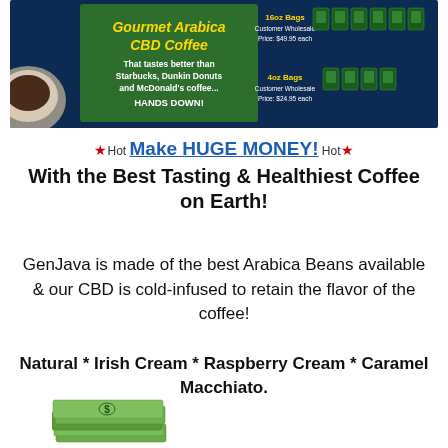[Figure (photo): Promotional banner for Gourmet Arabica CBD Coffee on dark blue background, with green panel on left showing yellow italic text 'Gourmet Arabica CBD Coffee' and white text 'That tastes better than Starbucks, Dunkin Donuts and McDonald's coffee... HANDS DOWN!'. Right side shows product bags with pricing: 16oz Bags Customer Wholesale Price: $49.95, 4oz Bags Customer Wholesale Price: $24.95.]
★Hot Make HUGE MONEY! ★Hot
With the Best Tasting & Healthiest Coffee on Earth!
GenJava is made of the best Arabica Beans available & our CBD is cold-infused to retain the flavor of the coffee!
Natural * Irish Cream * Raspberry Cream * Caramel Macchiato.
[Figure (photo): Stack of US dollar bills (money) at bottom left of page]